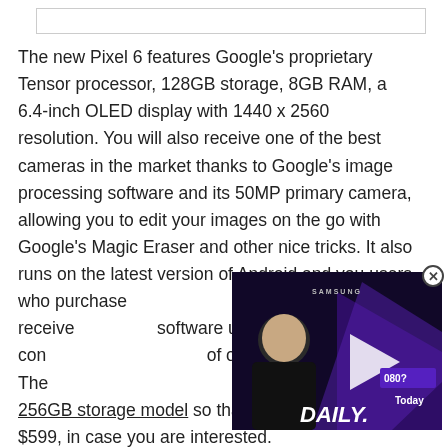[Figure (other): Empty white box at top of page (possibly image placeholder)]
The new Pixel 6 features Google's proprietary Tensor processor, 128GB storage, 8GB RAM, a 6.4-inch OLED display with 1440 x 2560 resolution. You will also receive one of the best cameras in the market thanks to Google's image processing software and its 50MP primary camera, allowing you to edit your images on the go with Google's Magic Eraser and other nice tricks. It also runs on the latest version of Android and you users who purchase likely be the first to receive software updates, which con of owning a Pixel phone. The applied to the 256GB storage model so that you can get one for $599, in case you are interested.
[Figure (screenshot): Video overlay thumbnail showing a man with Samsung Daily branding and a play button, with text mentioning 1080 and Today]